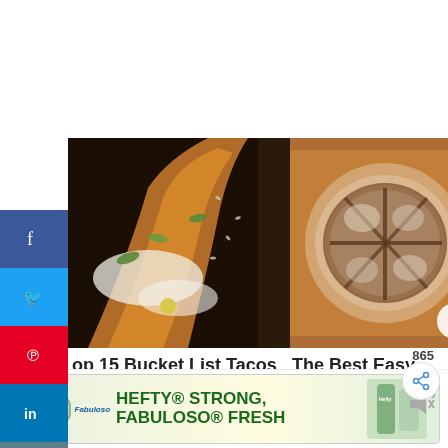[Figure (photo): Social media sharing sidebar with Facebook, Twitter, Pinterest, LinkedIn, heart/save, email, and print icons]
[Figure (photo): Close-up food photo of a taco with bacon, white sauce, greens and seeds on dark background]
[Figure (photo): Overhead photo of Irish Brown Soda Bread scored into sections on a baking tray dusted with flour]
865
op 15 Bucket List Tacos To Eat in alifornia
The Best Easy Irish Brown Soda Bread Recipe
WHAT'S NEXT → Skillet Baked Chicken...
[Figure (photo): Advertisement banner: Hefty STRONG, FABULOSO FRESH with Hefty and Fabuloso logos]